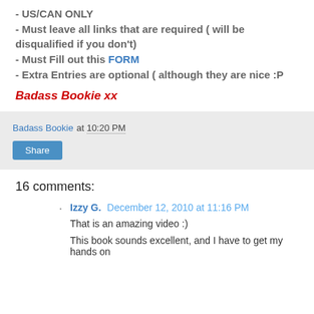- US/CAN ONLY
- Must leave all links that are required ( will be disqualified if you don't)
- Must Fill out this FORM
- Extra Entries are optional ( although they are nice :P
Badass Bookie xx
Badass Bookie at 10:20 PM
Share
16 comments:
Izzy G. December 12, 2010 at 11:16 PM
That is an amazing video :)
This book sounds excellent, and I have to get my hands on